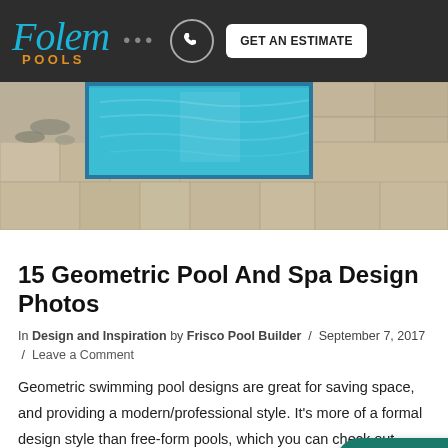Folen Pools ... GET AN ESTIMATE
[Figure (photo): Aerial/perspective photo of a narrow rectangular geometric swimming pool with blue water, surrounded by large travertine/stone tile decking]
15 Geometric Pool And Spa Design Photos
In Design and Inspiration by Frisco Pool Builder / September 7, 2017 / Leave a Comment
Geometric swimming pool designs are great for saving space, and providing a modern/professional style. It's more of a formal design style than free-form pools, which you can check out here. If you like anything you see, feel free to give
[Figure (screenshot): Get Help button overlay — teal rounded button with question mark icon and text 'Get Help']